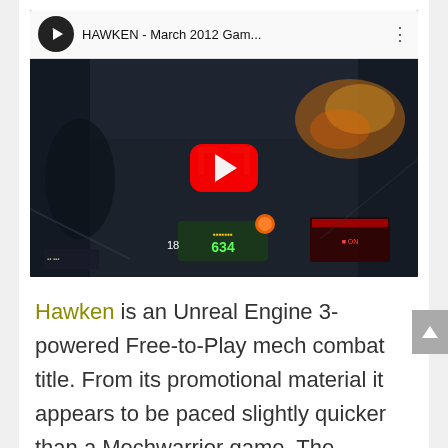[Figure (screenshot): YouTube video thumbnail for 'HAWKEN - March 2012 Gam...' showing a first-person mech cockpit view with heads-up display elements, explosions in the background, and a red YouTube play button overlay.]
Hawken is an Unreal Engine 3-powered Free-to-Play mech combat title. From its promotional material it appears to be paced slightly quicker than a Mechwarrior game. The universe is not based on a preexisting franchise. Closed beta signups are occurring now and the full game should be released on December 12th.